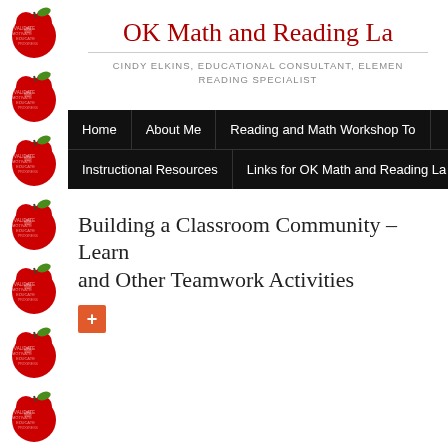[Figure (illustration): Vertical strip of repeating red apple icons with text overlaid, serving as a decorative left border]
OK Math and Reading La
CINDY ELKINS, EDUCATIONAL CONSULTANT, ELEMENTARY READING SPECIALIST
Home | About Me | Reading and Math Workshop To... | Instructional Resources | Links for OK Math and Reading La...
Building a Classroom Community – Learn... and Other Teamwork Activities
[Figure (other): Red plus/add button icon]